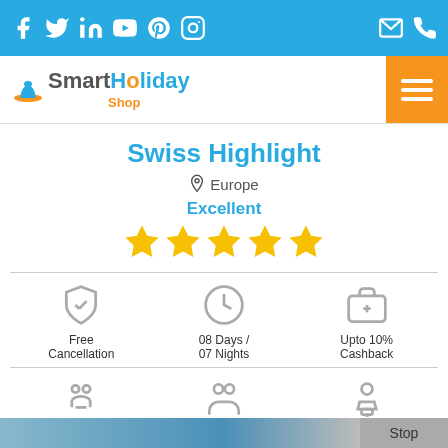Smart Holiday Shop - Social bar with Facebook, Twitter, LinkedIn, YouTube, Pinterest, Instagram, Email, Phone icons
[Figure (logo): Smart Holiday Shop logo with hat icon, orange and blue text]
Swiss Highlight
Europe
Excellent
[Figure (other): 5 yellow stars rating]
Free Cancellation
08 Days / 07 Nights
Upto 10% Cashback
Adventure Tour
Minimum 2 People
English, French